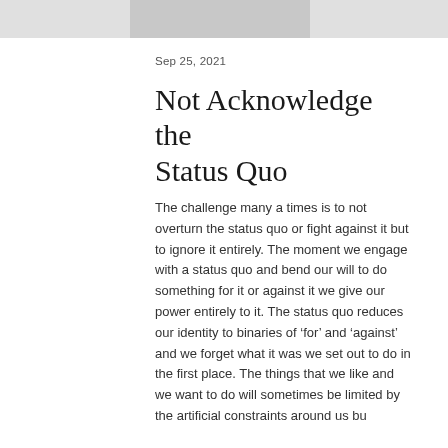Sep 25, 2021
Not Acknowledge the Status Quo
The challenge many a times is to not overturn the status quo or fight against it but to ignore it entirely. The moment we engage with a status quo and bend our will to do something for it or against it we give our power entirely to it. The status quo reduces our identity to binaries of ‘for’ and ‘against’ and we forget what it was we set out to do in the first place. The things that we like and we want to do will sometimes be limited by the artificial constraints around us bu